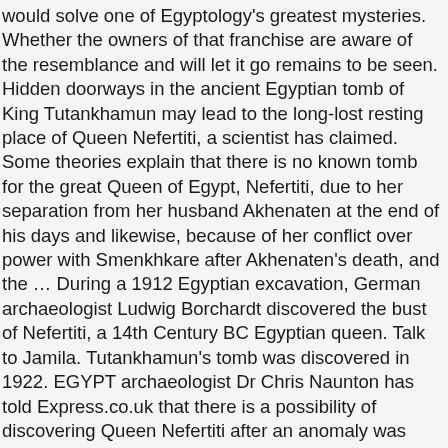would solve one of Egyptology's greatest mysteries. Whether the owners of that franchise are aware of the resemblance and will let it go remains to be seen. Hidden doorways in the ancient Egyptian tomb of King Tutankhamun may lead to the long-lost resting place of Queen Nefertiti, a scientist has claimed. Some theories explain that there is no known tomb for the great Queen of Egypt, Nefertiti, due to her separation from her husband Akhenaten at the end of his days and likewise, because of her conflict over power with Smenkhkare after Akhenaten's death, and the … During a 1912 Egyptian excavation, German archaeologist Ludwig Borchardt discovered the bust of Nefertiti, a 14th Century BC Egyptian queen. Talk to Jamila. Tutankhamun's tomb was discovered in 1922. EGYPT archaeologist Dr Chris Naunton has told Express.co.uk that there is a possibility of discovering Queen Nefertiti after an anomaly was found during a scan near Tutankhamun's tomb. Jamila El-Dine: Enter tunnel 2. Now, nearly a century later, a University of Arizona archaeologist says that tomb may hold a long-buried secret: the remains of Nefertiti . Nefertiti. Enter the tomb… Ancient Egypt: No Trace of Lost Tomb of Nefertiti at King Tutankhamun's Burial Site. Nefertiti died a queen and would have been buried as one. By Eric Knecht LUXOR, Egypt (Reuters) - Chances are high that the tomb of Ancient Egypt's boy-king Tutankhamun has passages to a hidden chamber, which may be the last resting place of the lost Queen Nefertiti, according to...